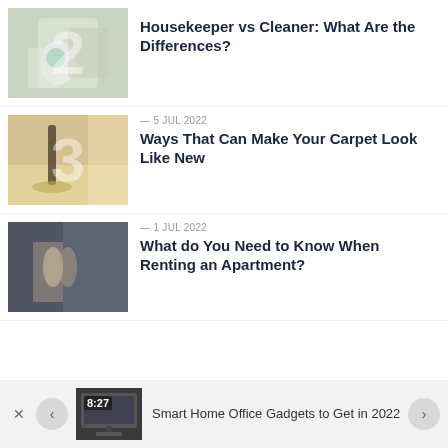[Figure (photo): Person cleaning a surface wearing blue gloves, with number 2 watermark overlay]
Housekeeper vs Cleaner: What Are the Differences?
[Figure (photo): Vacuum cleaner on carpet with warm sunlight, number 3 watermark overlay]
— 5 JUL 2022
Ways That Can Make Your Carpet Look Like New
[Figure (photo): Two people with moving boxes in apartment doorway, number watermark overlay]
— 1 JUL 2022
What do You Need to Know When Renting an Apartment?
[Figure (photo): Smart home office desk with clock showing 8:27]
Smart Home Office Gadgets to Get in 2022